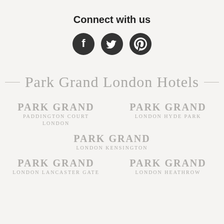Connect with us
[Figure (logo): Three social media icons: Facebook, Twitter, Pinterest — dark circular buttons with white icons]
Park Grand London Hotels
[Figure (logo): Park Grand Paddington Court London logo]
[Figure (logo): Park Grand London Hyde Park logo]
[Figure (logo): Park Grand London Kensington logo]
[Figure (logo): Park Grand London Lancaster Gate logo]
[Figure (logo): Park Grand London Heathrow logo]